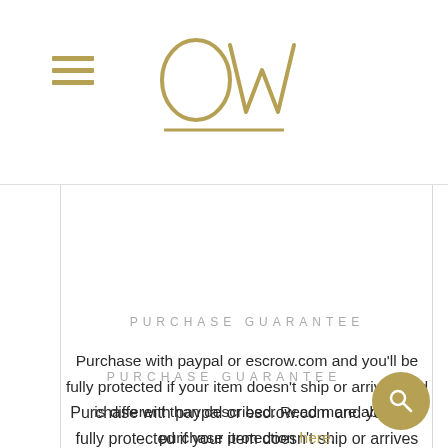[Figure (logo): OW stylized logo in gold/tan color with underline, centered in header]
PURCHASE GUARANTEE
Purchase with paypal or escrow.com and you'll be fully protected if your item doesn't ship or arrives and is different than described. Read more about purchase protection here.